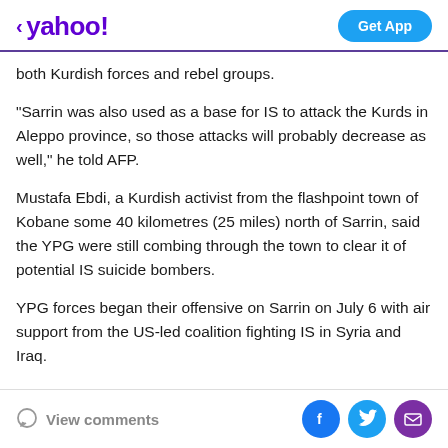< yahoo!  Get App
both Kurdish forces and rebel groups.
"Sarrin was also used as a base for IS to attack the Kurds in Aleppo province, so those attacks will probably decrease as well," he told AFP.
Mustafa Ebdi, a Kurdish activist from the flashpoint town of Kobane some 40 kilometres (25 miles) north of Sarrin, said the YPG were still combing through the town to clear it of potential IS suicide bombers.
YPG forces began their offensive on Sarrin on July 6 with air support from the US-led coalition fighting IS in Syria and Iraq.
View comments